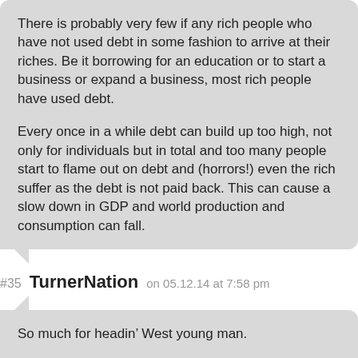There is probably very few if any rich people who have not used debt in some fashion to arrive at their riches. Be it borrowing for an education or to start a business or expand a business, most rich people have used debt.
Every once in a while debt can build up too high, not only for individuals but in total and too many people start to flame out on debt and (horrors!) even the rich suffer as the debt is not paid back. This can cause a slow down in GDP and world production and consumption can fall.
#35 TurnerNation on 05.12.14 at 7:58 pm
So much for headin’ West young man.
Step aside. Robots and cheap imported workers.
http://www.cbc.ca/news/technology/canadian-farmers-invest-in-robots-to-work-smarter-not-harder-1.2639960
“Dairy farmers Gerhard and Heather Ritzema used to be tied to routine. They would milk their cows three times a day, every day, often starting before breakfast, whether the cattle were ready or not.